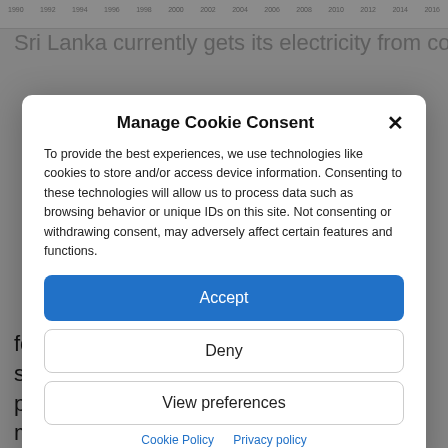[Figure (continuous-plot): Partial view of a time-series chart with year labels along the x-axis from 1990 to 2016]
Sri Lanka currently gets its electricity from coal, oil and
Manage Cookie Consent
To provide the best experiences, we use technologies like cookies to store and/or access device information. Consenting to these technologies will allow us to process data such as browsing behavior or unique IDs on this site. Not consenting or withdrawing consent, may adversely affect certain features and functions.
Accept
Deny
View preferences
Cookie Policy   Privacy policy
for energy is greatly reduced. In addition, solar power buy-back to the grid is encouraging more